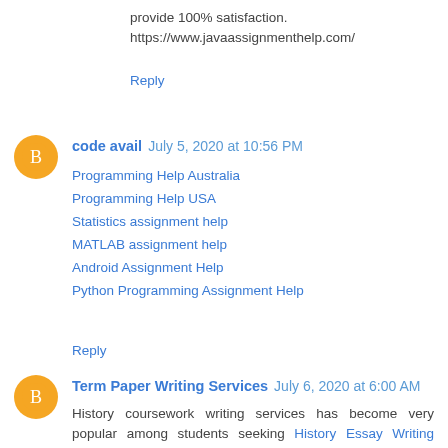provide 100% satisfaction.
https://www.javaassignmenthelp.com/
Reply
code avail  July 5, 2020 at 10:56 PM
Programming Help Australia
Programming Help USA
Statistics assignment help
MATLAB assignment help
Android Assignment Help
Python Programming Assignment Help
Reply
Term Paper Writing Services  July 6, 2020 at 6:00 AM
History coursework writing services has become very popular among students seeking History Essay Writing Services and history research paper writing services.
Reply